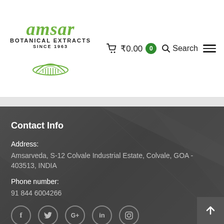[Figure (logo): Amsar Botanical Extracts Since 1963 logo with green italic text and leaf emblem]
₹0.00  0   Search  ☰
Contact Info
Address:
Amsarveda, S-12 Colvale Industrial Estate, Colvale, GOA - 403513, INDIA
Phone number:
91 844 6004266
[Figure (other): Social media icons: Facebook, Twitter, Google+, LinkedIn, Instagram]